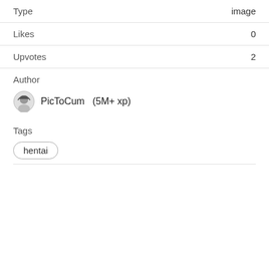| Field | Value |
| --- | --- |
| Type | image |
| Likes | 0 |
| Upvotes | 2 |
Author
PicToCum   (5M+ xp)
Tags
hentai